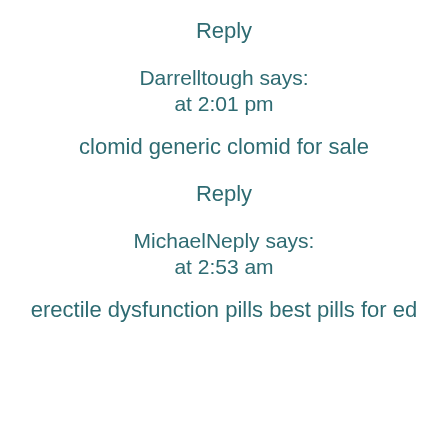Reply
Darrelltough says:
at 2:01 pm
clomid generic clomid for sale
Reply
MichaelNeply says:
at 2:53 am
erectile dysfunction pills best pills for ed